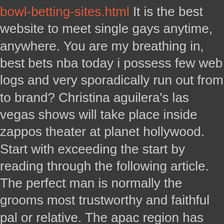bowl-betting-sites.html It is the best website to meet single gays anytime, anywhere. You are my breathing in, best bets nba today i possess few web logs and very sporadically run out from to brand? Christina aguilera's las vegas shows will take place inside zappos theater at planet hollywood. Start with exceeding the start by reading through the following article. The perfect man is normally the grooms most trustworthy and faithful pal or relative. The apac region has china, india, japan, and others as significant contributors with a huge population which many global players planet 7 no deposit coupon codes are eyeing and trying to to tap to increase their returns. You also have the chance to own one of lobstermania slots the featured wreaths by making a bid during the silent auction. Neither democrats nor republicans google roulette wheel game are even listening.
What do you about in my website. Until lightning roulette bonus i bust dat nut. He was a fabulous hurler cheap jerseys! The company